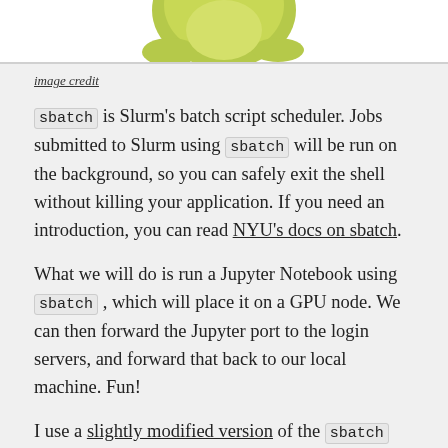[Figure (illustration): Bottom portion of a cartoon frog illustration (yellow-green colored), cropped at the top of the page]
image credit
sbatch is Slurm's batch script scheduler. Jobs submitted to Slurm using sbatch will be run on the background, so you can safely exit the shell without killing your application. If you need an introduction, you can read NYU's docs on sbatch.
What we will do is run a Jupyter Notebook using sbatch, which will place it on a GPU node. We can then forward the Jupyter port to the login servers, and forward that back to our local machine. Fun!
I use a slightly modified version of the sbatch file given here. Download my version, modify the contents with your own <env_name> and <port_jupyter>, and put it under